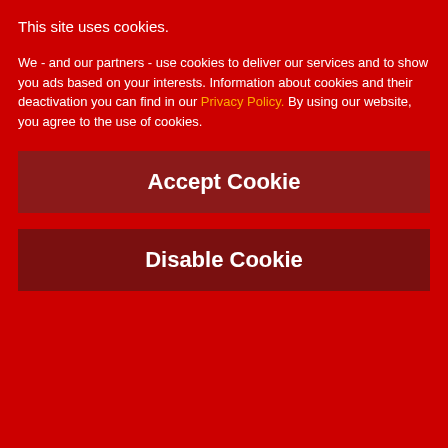This site uses cookies.
We - and our partners - use cookies to deliver our services and to show you ads based on your interests. Information about cookies and their deactivation you can find in our Privacy Policy. By using our website, you agree to the use of cookies.
Accept Cookie
Disable Cookie
SAO PAULO, BRAZIL
Wednesday, March 30th
1994
Olympia
Sao Paulo, Brazil